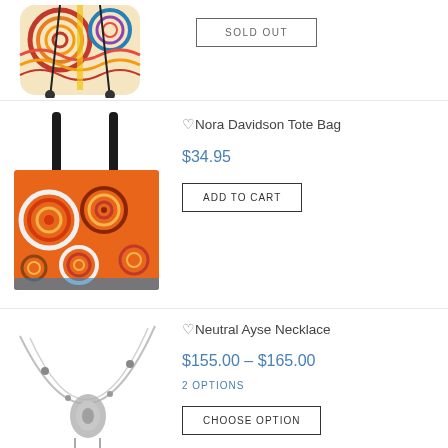[Figure (photo): Colorful patterned drawstring backpack, partially visible at top of page]
SOLD OUT
[Figure (photo): Nora Davidson Tote Bag - orange and red patterned tote bag with black handles]
Nora Davidson Tote Bag
$34.95
ADD TO CART
[Figure (photo): Neutral Ayse Necklace - silver/neutral colored necklace with pendant]
Neutral Ayse Necklace
$155.00 – $165.00
2 OPTIONS
CHOOSE OPTION